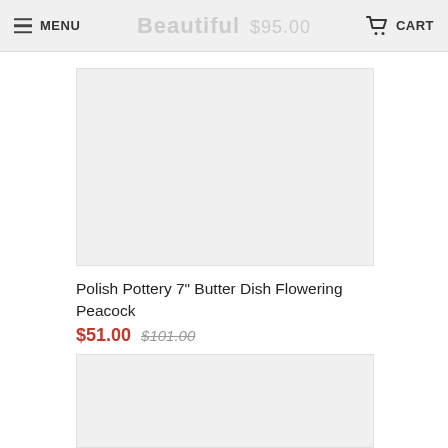MENU  Beautiful  $95.00  CART
[Figure (photo): Product image placeholder — light gray rectangle for Polish Pottery 7" Butter Dish Flowering Peacock]
Polish Pottery 7" Butter Dish Flowering Peacock   $51.00  $101.00
[Figure (photo): Second product image placeholder — light gray rectangle for another product]